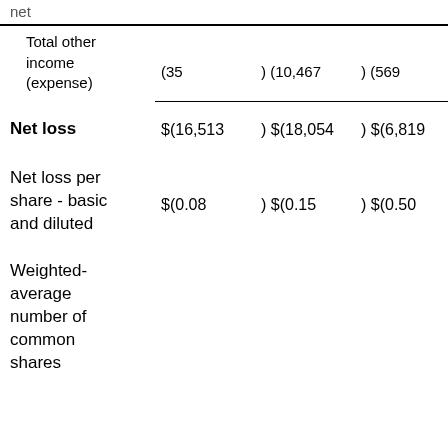|  |  |  |  |
| --- | --- | --- | --- |
| net |  |  |  |
| Total other income (expense) | (35 | ) (10,467 | ) (569 |
| Net loss | $(16,513 | ) $(18,054 | ) $(6,819 |
| Net loss per share - basic and diluted | $(0.08 | ) $(0.15 | ) $(0.50 |
| Weighted-average number of common shares |  |  |  |